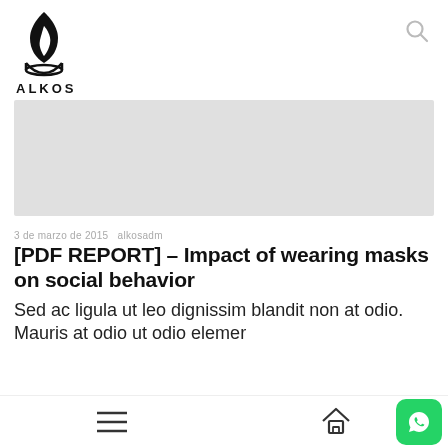[Figure (logo): ALKOS logo: black flame/leaf icon above the text ALKOS in bold capital letters]
[Figure (photo): Light gray banner/advertisement placeholder area]
3 de marzo de 2015   alkosadm
[PDF REPORT] – Impact of wearing masks on social behavior
Sed ac ligula ut leo dignissim blandit non at odio. Mauris at odio ut odio elemer...